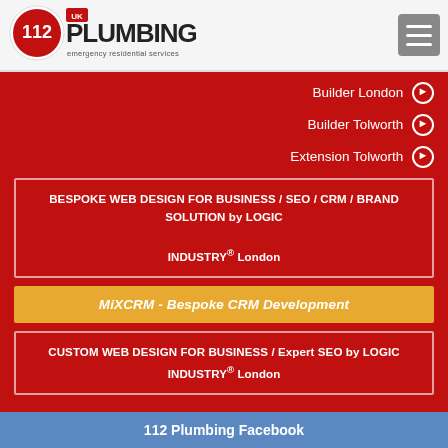[Figure (logo): 112 UK Plumbing logo with red circle containing '112' text and 'UK PLUMBING emergency residential services' text]
[Figure (other): Hamburger menu button (three horizontal lines) in grey rounded square]
Builder London ➔
Builder Tolworth ➔
Extension Tolworth ➔
BESPOKE WEB DESIGN FOR BUSINESS / SEO / CRM / BRAND SOLUTION by LOGIC INDUSTRY® London
MiXCRM - Bespoke CRM Development
CUSTOM WEB DESIGN FOR BUSINESS / Expert SEO by LOGIC INDUSTRY® London
112 Plumbing Facebook